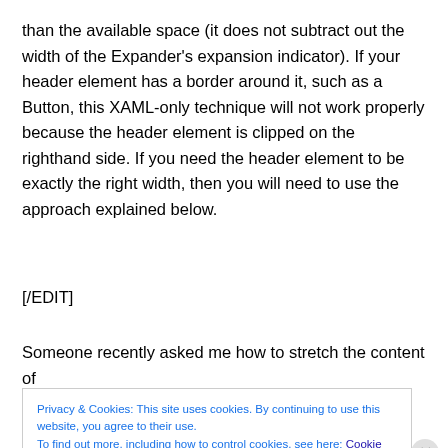than the available space (it does not subtract out the width of the Expander's expansion indicator).  If your header element has a border around it, such as a Button, this XAML-only technique will not work properly because the header element is clipped on the righthand side.  If you need the header element to be exactly the right width, then you will need to use the approach explained below.
[/EDIT]
Someone recently asked me how to stretch the content of
Privacy & Cookies: This site uses cookies. By continuing to use this website, you agree to their use.
To find out more, including how to control cookies, see here: Cookie Policy